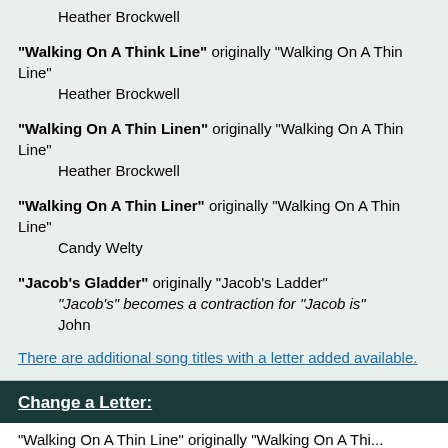Heather Brockwell
"Walking On A Think Line" originally "Walking On A Thin Line"
    Heather Brockwell
"Walking On A Thin Linen" originally "Walking On A Thin Line"
    Heather Brockwell
"Walking On A Thin Liner" originally "Walking On A Thin Line"
    Candy Welty
"Jacob's Gladder" originally "Jacob's Ladder"
    "Jacob's" becomes a contraction for "Jacob is"
    John
There are additional song titles with a letter added available.
Change a Letter:
"Walking On A Thin Line" originally "Walking On A Thi...